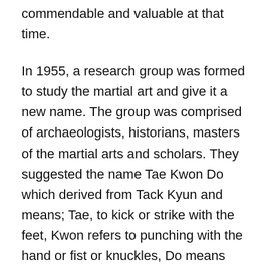commendable and valuable at that time.
In 1955, a research group was formed to study the martial art and give it a new name. The group was comprised of archaeologists, historians, masters of the martial arts and scholars. They suggested the name Tae Kwon Do which derived from Tack Kyun and means; Tae, to kick or strike with the feet, Kwon refers to punching with the hand or fist or knuckles, Do means way or method of life and philosophy. However, the new name did not appeal to the conservative Tang Soo Do practitioners at that time. Because of the flourishing popularity there were many sectors of the martial arts in Korea and all sectors called their own names, that is a leading name Tang Soo Do and Kong Soo Do, Hwa Soo Do, Tack Kyun, Kwon Bop and so on.
President Rhee, in profound respect for the art after witnessing a demonstration while inspecting the front line